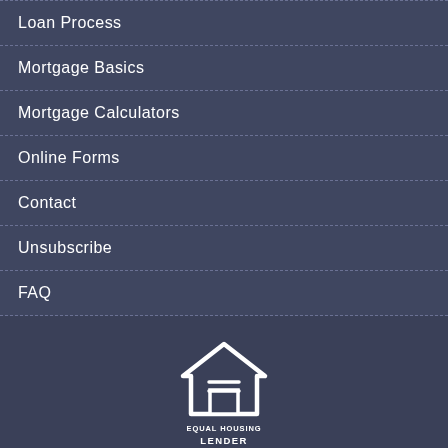Loan Process
Mortgage Basics
Mortgage Calculators
Online Forms
Contact
Unsubscribe
FAQ
[Figure (logo): Equal Housing Lender logo — white house outline with equals sign, text EQUAL HOUSING LENDER]
Powered By LenderHomePage.com